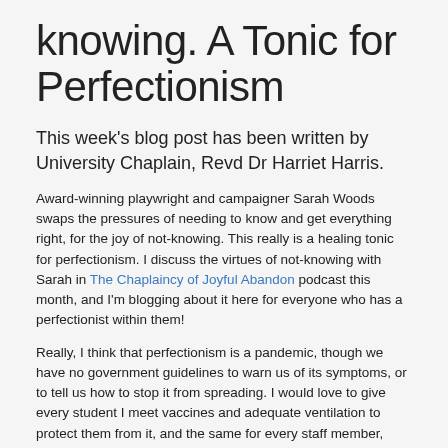knowing. A Tonic for Perfectionism
This week's blog post has been written by University Chaplain, Revd Dr Harriet Harris.
Award-winning playwright and campaigner Sarah Woods swaps the pressures of needing to know and get everything right, for the joy of not-knowing. This really is a healing tonic for perfectionism. I discuss the virtues of not-knowing with Sarah in The Chaplaincy of Joyful Abandon podcast this month, and I'm blogging about it here for everyone who has a perfectionist within them!
Really, I think that perfectionism is a pandemic, though we have no government guidelines to warn us of its symptoms, or to tell us how to stop it from spreading. I would love to give every student I meet vaccines and adequate ventilation to protect them from it, and the same for every staff member, parent, son, daughter, sibling, colleague and friend. At its most virulent, perfectionism is a killer – when fear of failing or the exhaustion of not feeling good-enough, takes the ultimate toll. In milder forms, it has us push ourselves